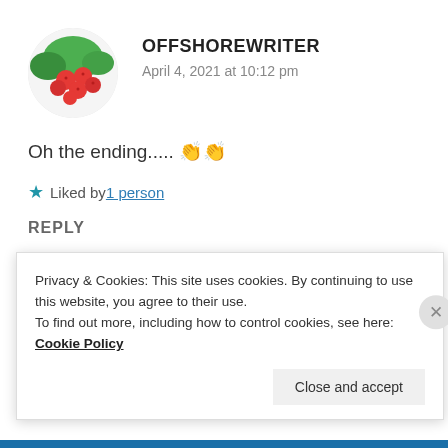OFFSHOREWRITER
April 4, 2021 at 10:12 pm
Oh the ending..... 👏👏
★ Liked by 1 person
REPLY
HEMALATHA RAMESH
Privacy & Cookies: This site uses cookies. By continuing to use this website, you agree to their use.
To find out more, including how to control cookies, see here: Cookie Policy
Close and accept